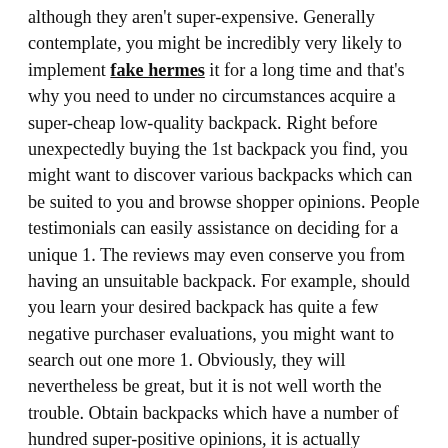although they aren't super-expensive. Generally contemplate, you might be incredibly very likely to implement fake hermes it for a long time and that's why you need to under no circumstances acquire a super-cheap low-quality backpack. Right before unexpectedly buying the 1st backpack you find, you might want to discover various backpacks which can be suited to you and browse shopper opinions. People testimonials can easily assistance on deciding for a unique 1. The reviews may even conserve you from having an unsuitable backpack. For example, should you learn your desired backpack has quite a few negative purchaser evaluations, you might want to search out one more 1. Obviously, they will nevertheless be great, but it is not well worth the trouble. Obtain backpacks which have a number of hundred super-positive opinions, it is actually virtually particular that you'll like them as well. Nearly all of enough time, the purchasers